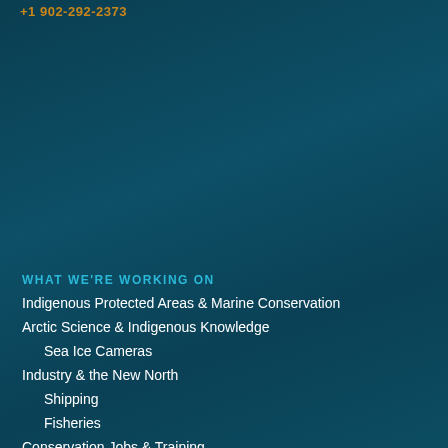+1 902-292-2373
WHAT WE'RE WORKING ON
Indigenous Protected Areas & Marine Conservation
Arctic Science & Indigenous Knowledge
Sea Ice Cameras
Industry & the New North
Shipping
Fisheries
Conservation Jobs & Training
WHERE WE'RE WORKING
Inuit Nunangat
Atlantic Canada
Baffin Bay & Davis Strait
James Bay/Weeneebeg/Wiiniibek
Tallurutiup Imanga
North Water Polynva